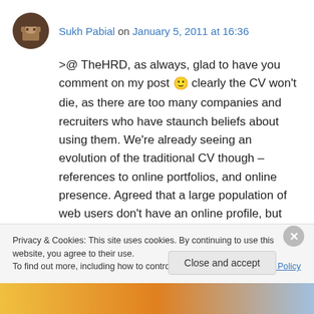Sukh Pabial on January 5, 2011 at 16:36
>@ TheHRD, as always, glad to have you comment on my post 🙂 clearly the CV won't die, as there are too many companies and recruiters who have staunch beliefs about using them. We're already seeing an evolution of the traditional CV though – references to online portfolios, and online presence. Agreed that a large population of web users don't have an online profile, but they're not really that far
Privacy & Cookies: This site uses cookies. By continuing to use this website, you agree to their use.
To find out more, including how to control cookies, see here: Cookie Policy
Close and accept